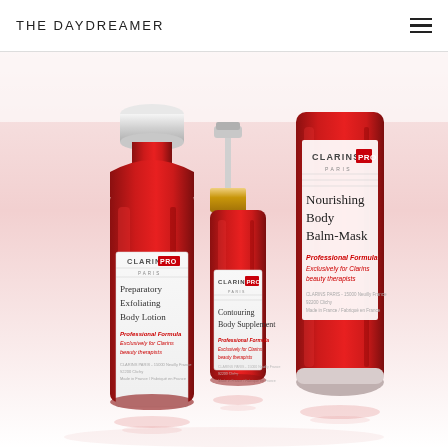THE DAYDREAMER
[Figure (photo): Three Clarins Pro Paris professional beauty products on white background: a large red bottle of Preparatory Exfoliating Body Lotion, a small red pump bottle of Contouring Body Supplement, and a large red tube of Nourishing Body Balm-Mask. All labeled with 'Professional Formula Exclusively for Clarins beauty therapists'.]